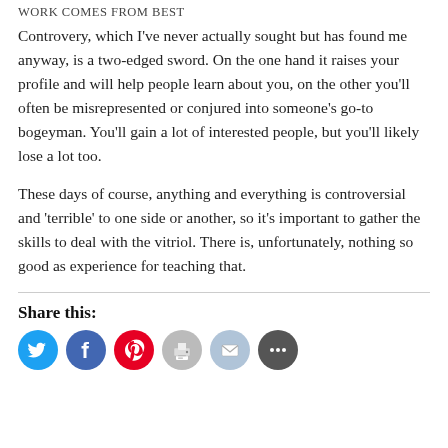WORK COMES FROM BEST
Controvery, which I've never actually sought but has found me anyway, is a two-edged sword. On the one hand it raises your profile and will help people learn about you, on the other you'll often be misrepresented or conjured into someone's go-to bogeyman. You'll gain a lot of interested people, but you'll likely lose a lot too.
These days of course, anything and everything is controversial and 'terrible' to one side or another, so it's important to gather the skills to deal with the vitriol. There is, unfortunately, nothing so good as experience for teaching that.
Share this:
[Figure (infographic): Row of social sharing icon buttons: Twitter (blue), Facebook (dark blue), Pinterest (red), Print (grey), Email (light blue), More (dark grey)]